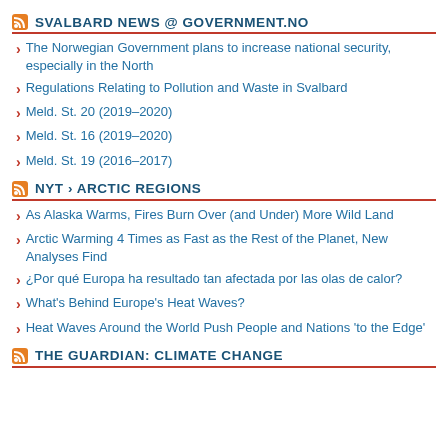SVALBARD NEWS @ GOVERNMENT.NO
The Norwegian Government plans to increase national security, especially in the North
Regulations Relating to Pollution and Waste in Svalbard
Meld. St. 20 (2019–2020)
Meld. St. 16 (2019–2020)
Meld. St. 19 (2016–2017)
NYT > ARCTIC REGIONS
As Alaska Warms, Fires Burn Over (and Under) More Wild Land
Arctic Warming 4 Times as Fast as the Rest of the Planet, New Analyses Find
¿Por qué Europa ha resultado tan afectada por las olas de calor?
What's Behind Europe's Heat Waves?
Heat Waves Around the World Push People and Nations 'to the Edge'
THE GUARDIAN: CLIMATE CHANGE